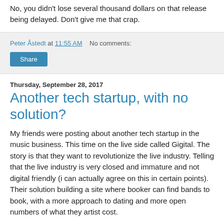No, you didn't lose several thousand dollars on that release being delayed. Don't give me that crap.
Peter Åstedt at 11:55 AM   No comments:
Share
Thursday, September 28, 2017
Another tech startup, with no solution?
My friends were posting about another tech startup in the music business. This time on the live side called Gigital. The story is that they want to revolutionize the live industry. Telling that the live industry is very closed and immature and not digital friendly (i can actually agree on this in certain points). Their solution building a site where booker can find bands to book, with a more approach to dating and more open numbers of what they artist cost.